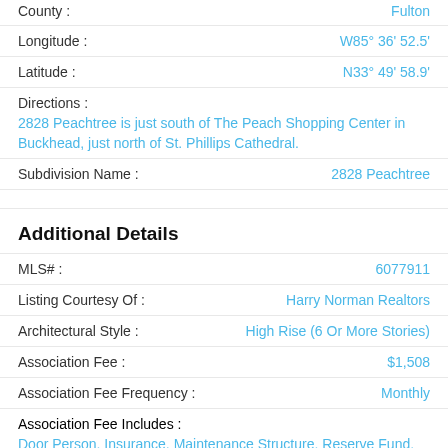County : Fulton
Longitude : W85° 36' 52.5'
Latitude : N33° 49' 58.9'
Directions :
2828 Peachtree is just south of The Peach Shopping Center in Buckhead, just north of St. Phillips Cathedral.
Subdivision Name : 2828 Peachtree
Additional Details
MLS# : 6077911
Listing Courtesy Of : Harry Norman Realtors
Architectural Style : High Rise (6 Or More Stories)
Association Fee : $1,508
Association Fee Frequency : Monthly
Association Fee Includes :
Door Person, Insurance, Maintenance Structure, Reserve Fund,